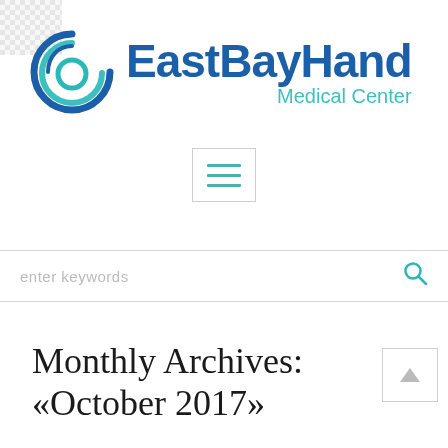[Figure (logo): EastBayHand Medical Center logo with circular swirl icon in blue and teal, and bold blue text 'EastBayHand' with teal 'Medical Center' subtitle]
[Figure (other): Hamburger menu button with three teal horizontal lines inside a bordered rectangle]
[Figure (other): Search bar with placeholder text 'enter keywords' and a teal magnifying glass icon]
Monthly Archives: «October 2017»
[Figure (other): Scroll-to-top button with upward-pointing arrow inside a bordered rectangle]